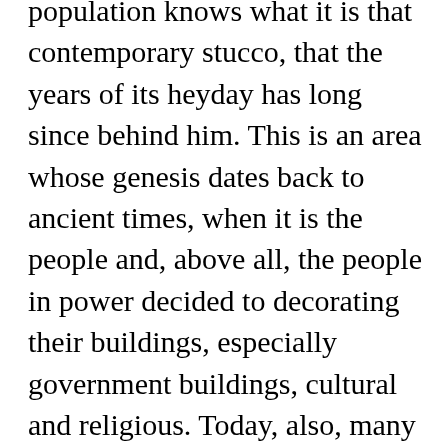population knows what it is that contemporary stucco, that the years of its heyday has long since behind him. This is an area whose genesis dates back to ancient times, when it is the people and, above all, the people in power decided to decorating their buildings, especially government buildings, cultural and religious. Today, also, many people, especially those a little richer, decides to apply these exceptional images in their "four corners". This approach guarantees the originality of our interior design, so that our guests will be delighted.